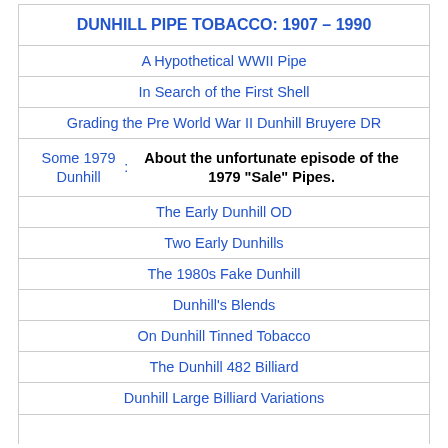DUNHILL PIPE TOBACCO: 1907 – 1990
A Hypothetical WWII Pipe
In Search of the First Shell
Grading the Pre World War II Dunhill Bruyere DR
Some 1979 Dunhill: About the unfortunate episode of the 1979 "Sale" Pipes.
The Early Dunhill OD
Two Early Dunhills
The 1980s Fake Dunhill
Dunhill's Blends
On Dunhill Tinned Tobacco
The Dunhill 482 Billiard
Dunhill Large Billiard Variations